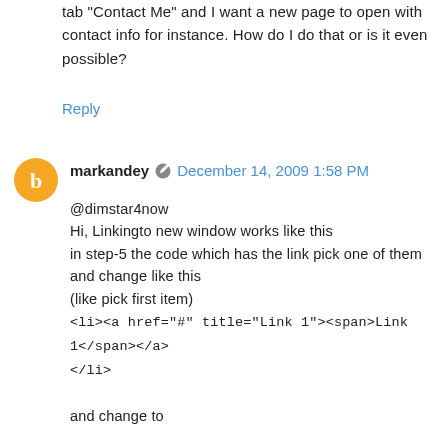tab "Contact Me" and I want a new page to open with contact info for instance. How do I do that or is it even possible?
Reply
markandey  December 14, 2009 1:58 PM
@dimstar4now
Hi, Linkingto new window works like this
in step-5 the code which has the link pick one of them and change like this
(like pick first item)
<li><a href="#" title="Link 1"><span>Link 1</span></a></li>

and change to

<li><a href="http://www.blogger.com/profile/027721386360740 16191" title="MyContacts" target="_blank"><span>MyContacts</span></a></li>